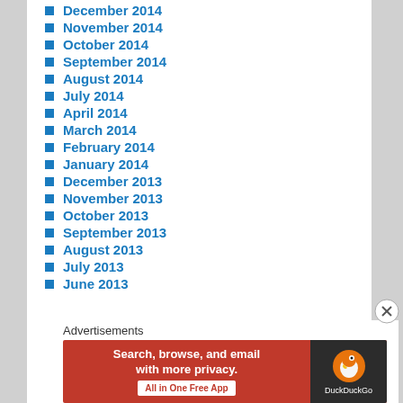December 2014
November 2014
October 2014
September 2014
August 2014
July 2014
April 2014
March 2014
February 2014
January 2014
December 2013
November 2013
October 2013
September 2013
August 2013
July 2013
June 2013
Advertisements
[Figure (infographic): DuckDuckGo advertisement banner: Search, browse, and email with more privacy. All in One Free App. Orange background with DuckDuckGo duck logo on dark right panel.]